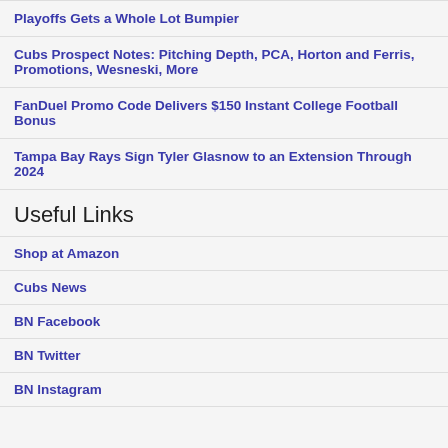Playoffs Gets a Whole Lot Bumpier
Cubs Prospect Notes: Pitching Depth, PCA, Horton and Ferris, Promotions, Wesneski, More
FanDuel Promo Code Delivers $150 Instant College Football Bonus
Tampa Bay Rays Sign Tyler Glasnow to an Extension Through 2024
Useful Links
Shop at Amazon
Cubs News
BN Facebook
BN Twitter
BN Instagram